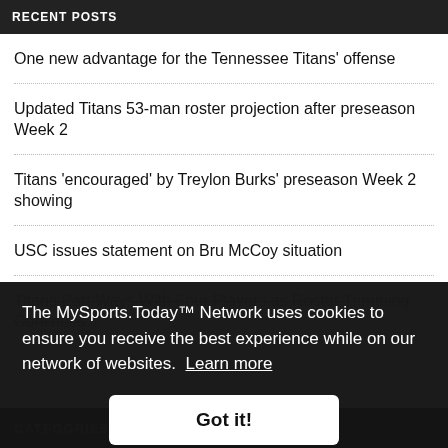RECENT POSTS
One new advantage for the Tennessee Titans' offense
Updated Titans 53-man roster projection after preseason Week 2
Titans 'encouraged' by Treylon Burks' preseason Week 2 showing
USC issues statement on Bru McCoy situation
Titans Part Ways With Four Players as Roster Trimming Continues
The MySports.Today™ Network uses cookies to ensure you receive the best experience while on our network of websites. Learn more
Got it!
CATEGORIES